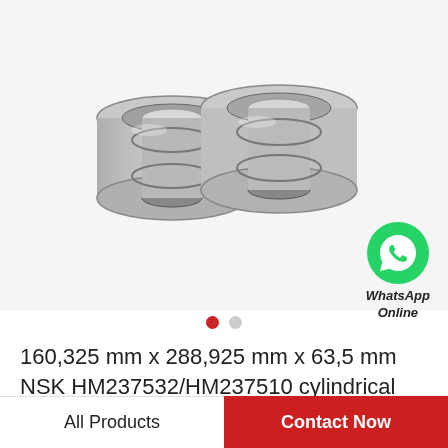[Figure (photo): Two metallic cylindrical roller bearings (NSK HM237532/HM237510) shown side by side on a light gray background, with a WhatsApp Online badge in the lower right of the image area]
WhatsApp Online
160,325 mm x 288,925 mm x 63,5 mm NSK HM237532/HM237510 cylindrical roller…
All Products | Contact Now